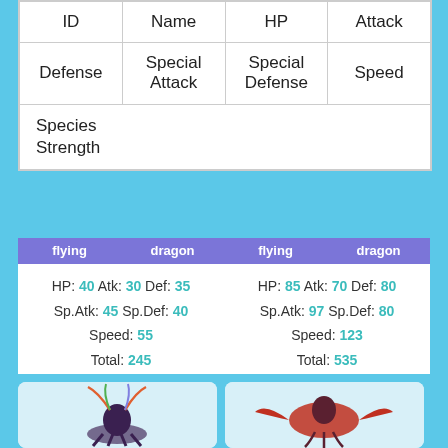| ID | Name | HP | Attack | Defense | Special Attack | Special Defense | Speed | Species Strength |
| --- | --- | --- | --- | --- | --- | --- | --- | --- |
flying dragon (left) flying dragon (right)
HP: 40 Atk: 30 Def: 35 Sp.Atk: 45 Sp.Def: 40 Speed: 55 Total: 245
HP: 85 Atk: 70 Def: 80 Sp.Atk: 97 Sp.Def: 80 Speed: 123 Total: 535
[Figure (illustration): Pokemon Xerneas illustration - deer-like creature with colorful antlers]
[Figure (illustration): Pokemon Yveltal illustration - red and black bird-like creature]